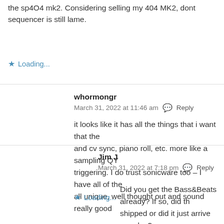the sp404 mk2. Considering selling my 404 MK2, dont sequencer is still lame.
Loading...
whormongr
March 31, 2022 at 11:46 am · Reply
it looks like it has all the things that i want that the and cv sync, piano roll, etc. more like a sampling QY triggering. I do trust sonicware too – I have all of the all unique, well thought out and sound really good
Loading...
Jim J
March 31, 2022 at 7:18 pm · Reply
Did you get the Bass&Beats already? If so, did th shipped or did it just arrive one day?